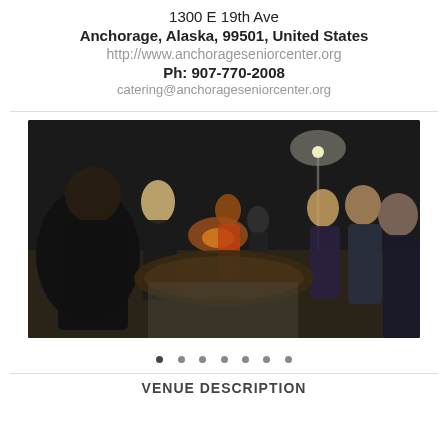1300 E 19th Ave
Anchorage, Alaska, 99501, United States
http://www.anchorageseniorcenter.org
Ph: 907-770-2008
catering@anchorageseniorcenter.org
[Figure (photo): Nighttime outdoor gathering with people standing around a lit area, lamppost visible in background]
VENUE DESCRIPTION